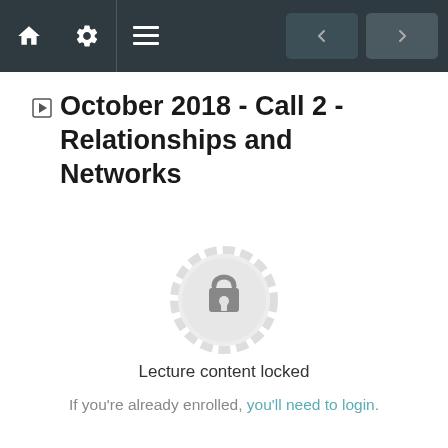Navigation bar with home, settings, menu icons and prev/next buttons
October 2018 - Call 2 - Relationships and Networks
[Figure (illustration): Lock icon inside a decorative circular badge, indicating locked lecture content]
Lecture content locked
If you're already enrolled, you'll need to login.